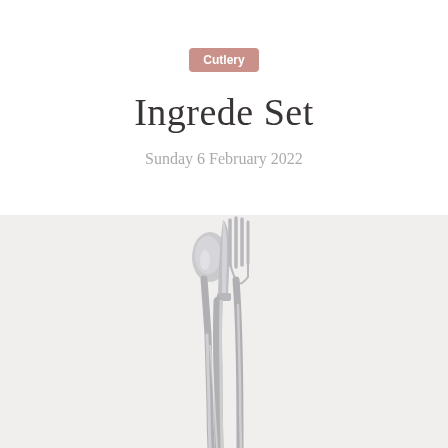Cutlery
Ingrede Set
Sunday 6 February 2022
[Figure (photo): Top-down view of a stainless steel cutlery set (knife, spoon, and fork) arranged together against a light background, handles pointing downward]